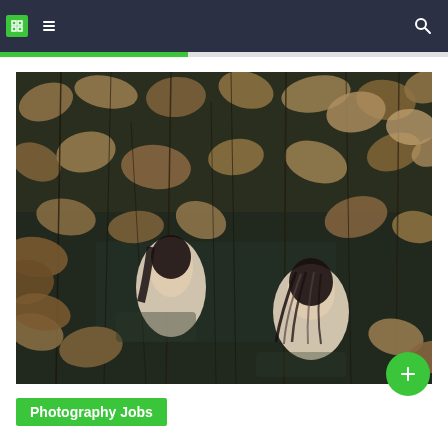Navigation bar with icons and search
[Figure (photo): Artistic photograph showing human figures (pale skin, dark hair) partially submerged among dried lotus leaves and stems in dark water, viewed from above. The scene is dense with brown dried foliage and still reflective water.]
Photography Jobs